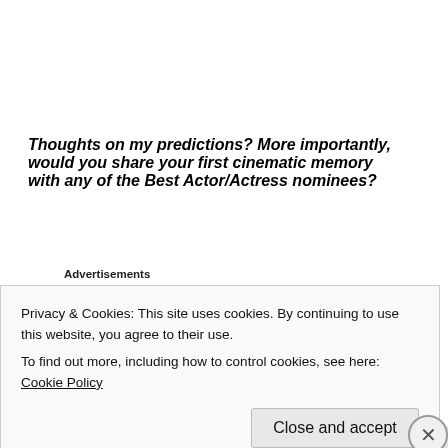Thoughts on my predictions? More importantly, would you share your first cinematic memory with any of the Best Actor/Actress nominees?
Advertisements
Privacy & Cookies: This site uses cookies. By continuing to use this website, you agree to their use.
To find out more, including how to control cookies, see here: Cookie Policy
Close and accept